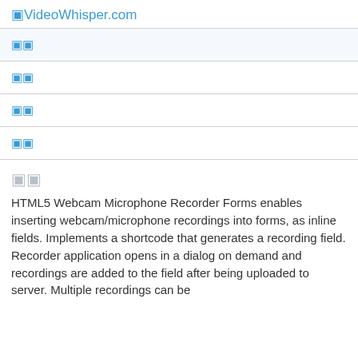⬛VideoWhisper.com
| ⬛⬛ |
| ⬛⬛ |
| ⬛⬛ |
| ⬛⬛ |
⬛⬛
HTML5 Webcam Microphone Recorder Forms enables inserting webcam/microphone recordings into forms, as inline fields. Implements a shortcode that generates a recording field. Recorder application opens in a dialog on demand and recordings are added to the field after being uploaded to server. Multiple recordings can be